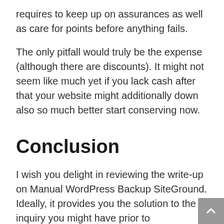requires to keep up on assurances as well as care for points before anything fails.
The only pitfall would truly be the expense (although there are discounts). It might not seem like much yet if you lack cash after that your website might additionally down also so much better start conserving now.
Conclusion
I wish you delight in reviewing the write-up on Manual WordPress Backup SiteGround. Ideally, it provides you the solution to the inquiry you might have prior to experimenting with SiteGround.